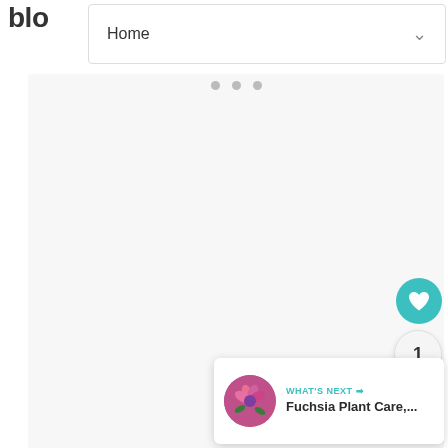blo
[Figure (screenshot): Navigation bar with 'Home' text and a dropdown chevron]
[Figure (screenshot): Main content area with light gray background and three loading dots centered]
[Figure (screenshot): Floating action buttons: teal heart favorite button, count badge showing 1, and teal share button]
[Figure (screenshot): What's Next card with fuchsia plant thumbnail, label 'WHAT'S NEXT →', and title 'Fuchsia Plant Care,...']